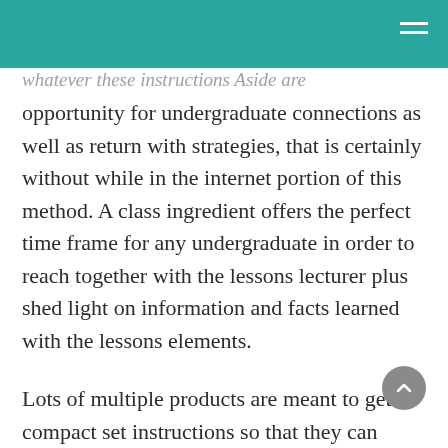opportunity for undergraduate connections as well as return with strategies, that is certainly without while in the internet portion of this method. A class ingredient offers the perfect time frame for any undergraduate in order to reach together with the lessons lecturer plus shed light on information and facts learned with the lessons elements.
Lots of multiple products are meant to get compact set instructions so that they can greatly enhance how much connections